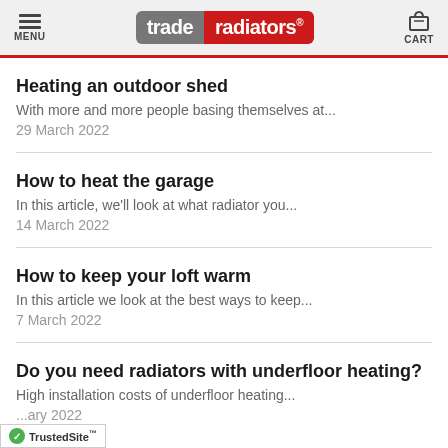MENU | trade radiators® | CART
Heating an outdoor shed
With more and more people basing themselves at...
29 March 2022
How to heat the garage
In this article, we'll look at what radiator you...
14 March 2022
How to keep your loft warm
In this article we look at the best ways to keep...
7 March 2022
Do you need radiators with underfloor heating?
High installation costs of underfloor heating...
...ary 2022